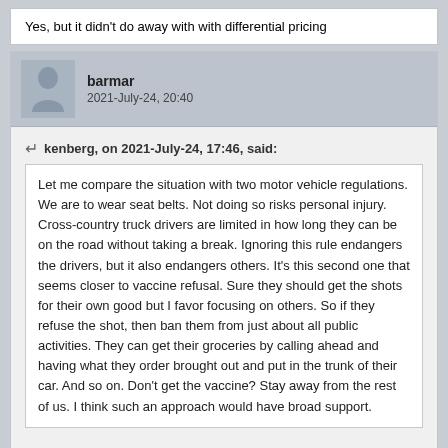Yes, but it didn't do away with with differential pricing
barmar
2021-July-24, 20:40
kenberg, on 2021-July-24, 17:46, said:
Let me compare the situation with two motor vehicle regulations. We are to wear seat belts. Not doing so risks personal injury. Cross-country truck drivers are limited in how long they can be on the road without taking a break. Ignoring this rule endangers the drivers, but it also endangers others. It's this second one that seems closer to vaccine refusal. Sure they should get the shots for their own good but I favor focusing on others. So if they refuse the shot, then ban them from just about all public activities. They can get their groceries by calling ahead and having what they order brought out and put in the trunk of their car. And so on. Don't get the vaccine? Stay away from the rest of us. I think such an approach would have broad support.
The unfortunate thing is that GOP leaders are going the exact opposite direction. A number of states have made it illegal for